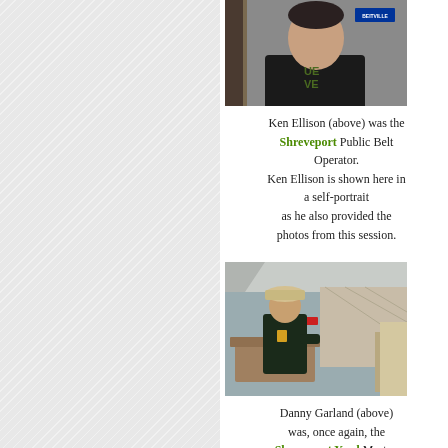[Figure (photo): Photo of Ken Ellison, a self-portrait, shown from shoulders up against a wall background with a blue sign.]
Ken Ellison (above) was the Shreveport Public Belt Operator. Ken Ellison is shown here in a self-portrait as he also provided the photos from this session.
[Figure (photo): Photo of Danny Garland standing in a railroad yard control room or operations area, wearing a cap and dark shirt.]
Danny Garland (above) was, once again, the Shreveport Yard Master.